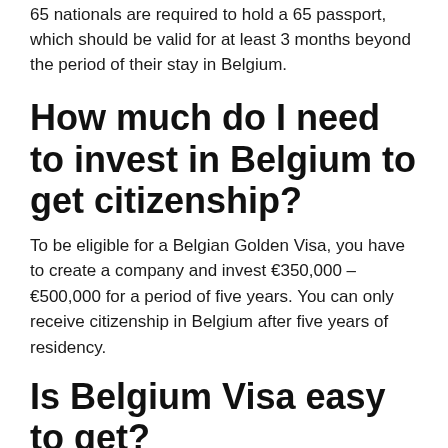65 nationals are required to hold a 65 passport, which should be valid for at least 3 months beyond the period of their stay in Belgium.
How much do I need to invest in Belgium to get citizenship?
To be eligible for a Belgian Golden Visa, you have to create a company and invest €350,000 – €500,000 for a period of five years. You can only receive citizenship in Belgium after five years of residency.
Is Belgium Visa easy to get?
As for the most difficult, Belgium leads the